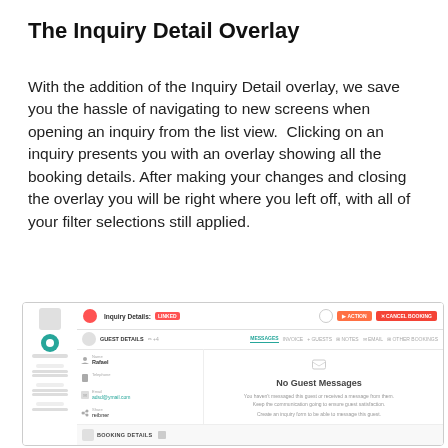The Inquiry Detail Overlay
With the addition of the Inquiry Detail overlay, we save you the hassle of navigating to new screens when opening an inquiry from the list view.  Clicking on an inquiry presents you with an overlay showing all the booking details. After making your changes and closing the overlay you will be right where you left off, with all of your filter selections still applied.
[Figure (screenshot): Screenshot of the Inquiry Details overlay UI showing a dialog with a close button, Inquiry Details label with OPEN badge, ACTION and CANCEL BOOKING buttons, tabs including MESSAGES, INVOICE, GUESTS, NOTES, EMAIL, OTHER BOOKINGS, a guest info panel on the left with Name, Telephone, Email, Share fields, and a main panel showing 'No Guest Messages' with envelope icon and descriptive text, plus a BOOKING DETAILS bar at the bottom.]